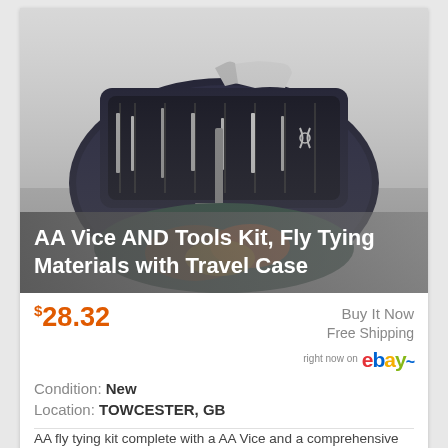[Figure (photo): AA fly tying kit with vice, tools, and travel case open showing contents]
AA Vice AND Tools Kit, Fly Tying Materials with Travel Case
$28.32
Buy It Now
Free Shipping
right now on ebay
Condition: New
Location: TOWCESTER, GB
AA fly tying kit complete with a AA Vice and a comprehensive set of tools and materials. The vice jaws will open to a maximum of approx 2mm Also as the kit is portable it can be taken with you fly fishing.